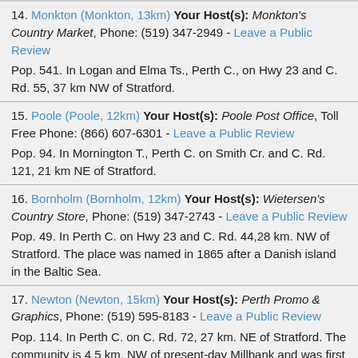14. Monkton (Monkton, 13km) Your Host(s): Monkton's Country Market, Phone: (519) 347-2949 - Leave a Public Review
Pop. 541. In Logan and Elma Ts., Perth C., on Hwy 23 and C. Rd. 55, 37 km NW of Stratford.
15. Poole (Poole, 12km) Your Host(s): Poole Post Office, Toll Free Phone: (866) 607-6301 - Leave a Public Review
Pop. 94. In Mornington T., Perth C. on Smith Cr. and C. Rd. 121, 21 km NE of Stratford.
16. Bornholm (Bornholm, 12km) Your Host(s): Wietersen's Country Store, Phone: (519) 347-2743 - Leave a Public Review
Pop. 49. In Perth C. on Hwy 23 and C. Rd. 44,28 km. NW of Stratford. The place was named in 1865 after a Danish island in the Baltic Sea.
17. Newton (Newton, 15km) Your Host(s): Perth Promo & Graphics, Phone: (519) 595-8183 - Leave a Public Review
Pop. 114. In Perth C. on C. Rd. 72, 27 km. NE of Stratford. The community is 4.5 km. NW of present-day Millbank and was first called Millbank Station.